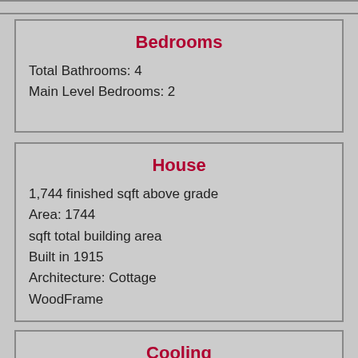Bedrooms
Total Bathrooms: 4
Main Level Bedrooms: 2
House
1,744 finished sqft above grade
Area: 1744
sqft total building area
Built in 1915
Architecture: Cottage
WoodFrame
Cooling
Details: CentralAir